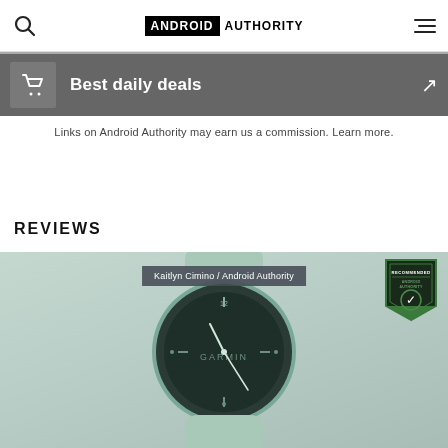ANDROID AUTHORITY
Best daily deals
Links on Android Authority may earn us a commission. Learn more.
REVIEWS
[Figure (photo): Garmin watch with mint/sage green band and dark dial, photographed from above on a light background. Photo credit: Kaitlyn Cimino / Android Authority. Recommended badge from Android Authority visible in upper right.]